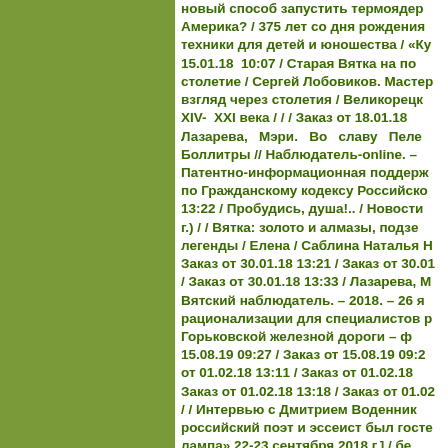[Figure (other): Solid olive/green rectangle occupying the left portion of the page]
новый способ запустить термоядер... Америка? / 375 лет со дня рождения техники для детей и юношества / «Ку... 15.01.18 10:07 / Старая Вятка на по... столетие / Сергей Лобовиков. Мастер... взгляд через столетия / Великорецк... XIV- XXI века / / / Заказ от 18.01.18 Лазарева, Мэри. Во славу Пеле... Боллитры // Наблюдатель-online. – ... Патентно-информационная поддерж... по Гражданскому кодексу Российско... 13:22 / Пробудись, душа!.. / Новости г.) / / Вятка: золото и алмазы, подзе... легенды / Елена / Саблина Наталья Н... Заказ от 30.01.18 13:21 / Заказ от 30.01... / Заказ от 30.01.18 13:33 / Лазарева, М... Вятский наблюдатель. – 2018. – 26 я... рационализации для специалистов р... Горьковской железной дороги – ф... 15.08.19 09:27 / Заказ от 15.08.19 09:2... от 01.02.18 13:11 / Заказ от 01.02.18 Заказ от 01.02.18 13:18 / Заказ от 01.02... / / Интервью с Дмитрием Воденник... российский поэт и эссеист был госте... лампа» 22-23 сентября 2018 г.] / бе... (ГТРК Вятка). – 2018. – 2 окт. / С... Олегович» Пелевин как солнце остальной литературный процесс /А... Лазарева, М. Оказывается, Добролю... метался между духом и плотью //